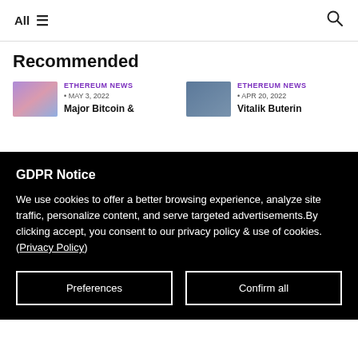All ☰  🔍
Recommended
[Figure (photo): Thumbnail image for Bitcoin & Ethereum news article, purple/blue tones]
ETHEREUM NEWS • MAY 3, 2022 Major Bitcoin &
[Figure (photo): Thumbnail image for Vitalik Buterin article, blue/grey tones]
ETHEREUM NEWS • APR 20, 2022 Vitalik Buterin
GDPR Notice
We use cookies to offer a better browsing experience, analyze site traffic, personalize content, and serve targeted advertisements.By clicking accept, you consent to our privacy policy & use of cookies. (Privacy Policy)
Preferences
Confirm all